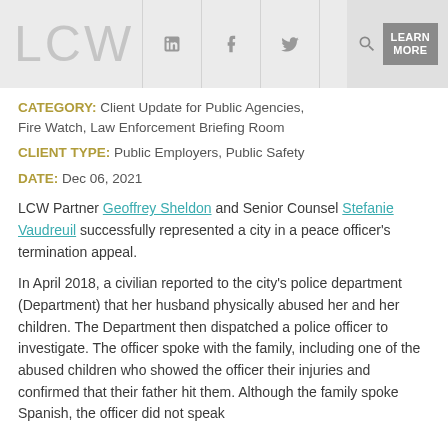LCW | in | f | [twitter] | [search] | LEARN MORE
CATEGORY: Client Update for Public Agencies, Fire Watch, Law Enforcement Briefing Room
CLIENT TYPE: Public Employers, Public Safety
DATE: Dec 06, 2021
LCW Partner Geoffrey Sheldon and Senior Counsel Stefanie Vaudreuil successfully represented a city in a peace officer's termination appeal.
In April 2018, a civilian reported to the city's police department (Department) that her husband physically abused her and her children. The Department then dispatched a police officer to investigate. The officer spoke with the family, including one of the abused children who showed the officer their injuries and confirmed that their father hit them. Although the family spoke Spanish, the officer did not speak